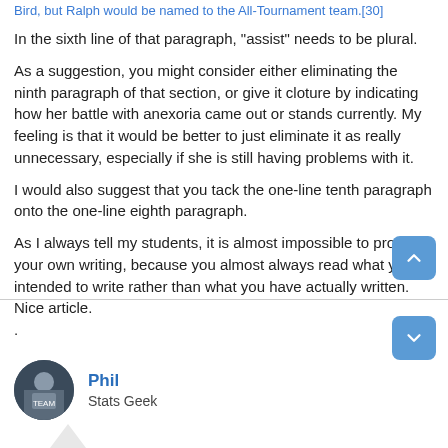Bird, but Ralph would be named to the All-Tournament team.[30]
In the sixth line of that paragraph, "assist" needs to be plural.
As a suggestion, you might consider either eliminating the ninth paragraph of that section, or give it cloture by indicating how her battle with anexoria came out or stands currently. My feeling is that it would be better to just eliminate it as really unnecessary, especially if she is still having problems with it.
I would also suggest that you tack the one-line tenth paragraph onto the one-line eighth paragraph.
As I always tell my students, it is almost impossible to proof your own writing, because you almost always read what you intended to write rather than what you have actually written. Nice article.
.
Phil
Stats Geek